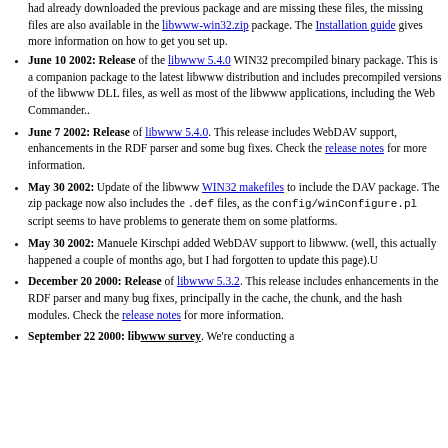had already downloaded the previous package and are missing these files, the missing files are also available in the libwww-win32.zip package. The Installation guide gives more information on how to get you set up.
June 10 2002: Release of the libwww 5.4.0 WIN32 precompiled binary package. This is a companion package to the latest libwww distribution and includes precompiled versions of the libwww DLL files, as well as most of the libwww applications, including the Web Commander..
June 7 2002: Release of libwww 5.4.0. This release includes WebDAV support, enhancements in the RDF parser and some bug fixes. Check the release notes for more information.
May 30 2002: Update of the libwww WIN32 makefiles to include the DAV package. The zip package now also includes the .def files, as the config/winConfigure.pl script seems to have problems to generate them on some platforms.
May 30 2002: Manuele Kirschpi added WebDAV support to libwww. (well, this actually happened a couple of months ago, but I had forgotten to update this page).U
December 20 2000: Release of libwww 5.3.2. This release includes enhancements in the RDF parser and many bug fixes, principally in the cache, the chunk, and the hash modules. Check the release notes for more information.
September 22 2000: libwww survey. We're conducting a